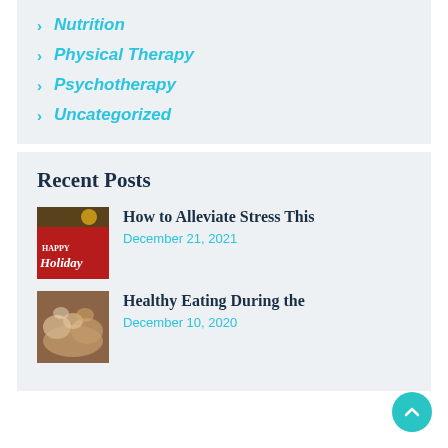Nutrition
Physical Therapy
Psychotherapy
Uncategorized
Recent Posts
[Figure (photo): Holiday themed image with 'Happy Holidays' text on red background]
How to Alleviate Stress This
December 21, 2021
[Figure (photo): Food spread with various dishes on a table]
Healthy Eating During the
December 10, 2020